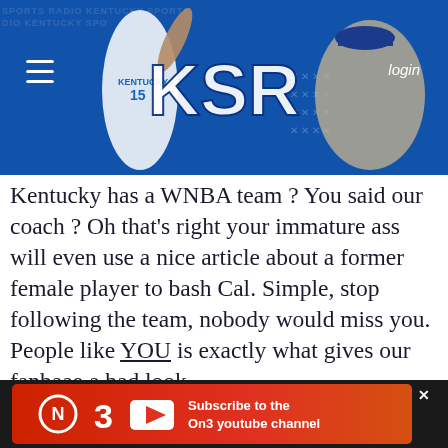[Figure (screenshot): KSR (Kentucky Sports Radio) website header banner with blue background, basketball players, KSR logo, hamburger menu, and login button]
Kentucky has a WNBA team ? You said our coach ? Oh that's right your immature ass will even use a nice article about a former female player to bash Cal. Simple, stop following the team, nobody would miss you. People like YOU is exactly what gives our fanbaae a bad look.
BBNmemberinoh
5/21/22, 5:40 PM
[Figure (screenshot): ON3 youtube channel advertisement banner at bottom of page]